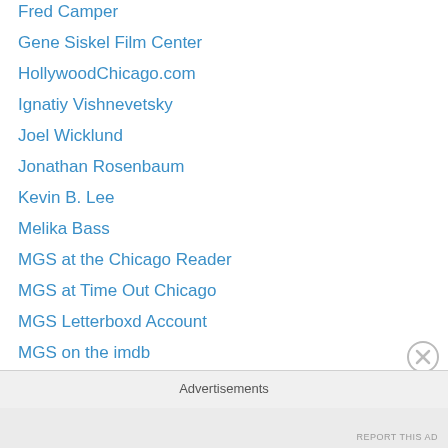Fred Camper
Gene Siskel Film Center
HollywoodChicago.com
Ignatiy Vishnevetsky
Joel Wicklund
Jonathan Rosenbaum
Kevin B. Lee
Melika Bass
MGS at the Chicago Reader
MGS at Time Out Chicago
MGS Letterboxd Account
MGS on the imdb
Mia Park
Michael Phillips
Music Box Theatre
New City Film/Ray Pride
Nightingale Theatre
Advertisements
REPORT THIS AD